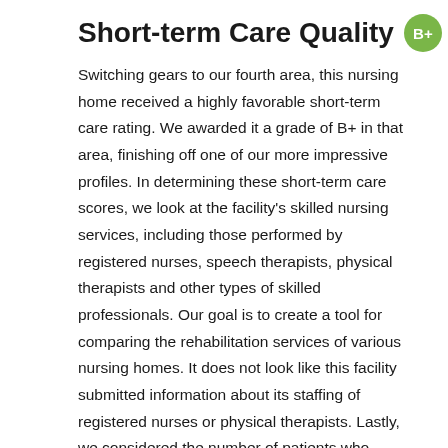Short-term Care Quality B+
Switching gears to our fourth area, this nursing home received a highly favorable short-term care rating. We awarded it a grade of B+ in that area, finishing off one of our more impressive profiles. In determining these short-term care scores, we look at the facility's skilled nursing services, including those performed by registered nurses, speech therapists, physical therapists and other types of skilled professionals. Our goal is to create a tool for comparing the rehabilitation services of various nursing homes. It does not look like this facility submitted information about its staffing of registered nurses or physical therapists. Lastly, we considered the number of patients who ultimately returned home from this facility. We found that 5.1 percent of this nursing home's patients returned home.